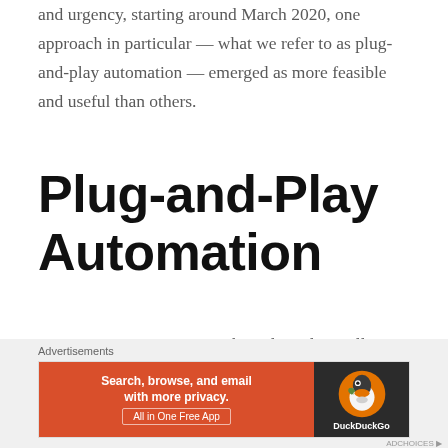and urgency, starting around March 2020, one approach in particular — what we refer to as plug-and-play automation — emerged as more feasible and useful than others.
Plug-and-Play Automation
Managers want systems with a relatively small physical footprint and proven capabilities that are easy to connect to power, pressurized air (for robotic grippers
Advertisements